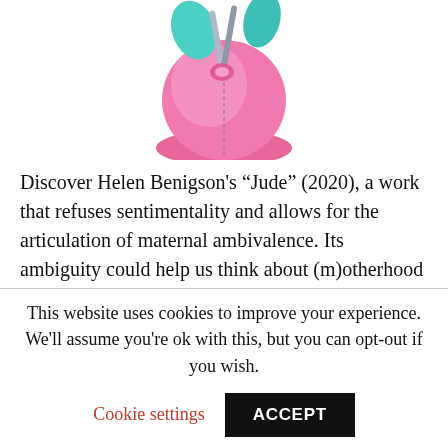[Figure (illustration): Partial view of a colorful pink and teal sculptural artwork, cropped at top of page]
Discover Helen Benigson's “Jude” (2020), a work that refuses sentimentality and allows for the articulation of maternal ambivalence. Its ambiguity could help us think about (m)otherhood outside of the failure/achievement binary and without separating it from sexuality. I feel that holds true for most of Benigson’s works. They manage to reunite the maternal body and the erotic
This website uses cookies to improve your experience. We'll assume you're ok with this, but you can opt-out if you wish.
Cookie settings   ACCEPT